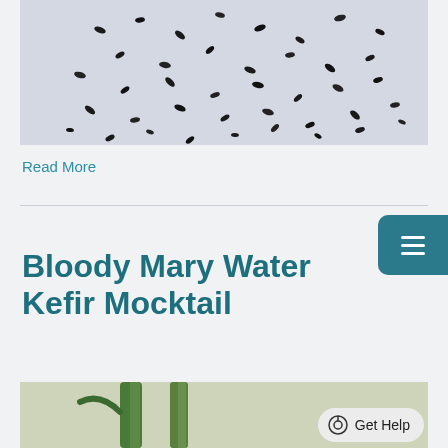[Figure (photo): Close-up photo of scattered small black seeds on a light grey/white background]
Read More
Bloody Mary Water Kefir Mocktail
[Figure (photo): Partial photo showing green vegetable stalks (possibly celery or similar) on a light background, with a 'Get Help' chat button overlay]